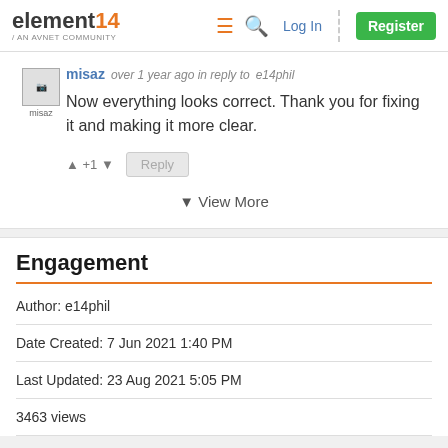element14 / AN AVNET COMMUNITY — Log In | Register
misaz   over 1 year ago in reply to e14phil
Now everything looks correct. Thank you for fixing it and making it more clear.
▲ +1 ▼   Reply
▼ View More
Engagement
Author: e14phil
Date Created: 7 Jun 2021 1:40 PM
Last Updated: 23 Aug 2021 5:05 PM
3463 views